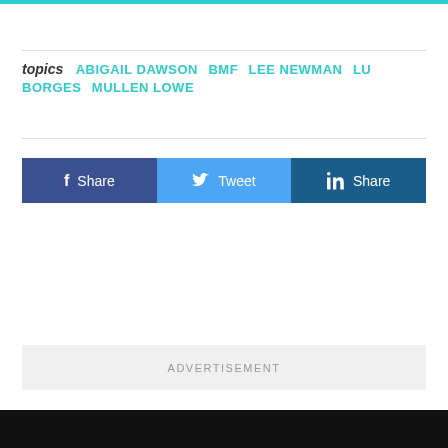topics  ABIGAIL DAWSON  BMF  LEE NEWMAN  LU BORGES  MULLEN LOWE
[Figure (infographic): Social share buttons bar with Facebook Share, Twitter Tweet, and LinkedIn Share buttons]
ADVERTISEMENT